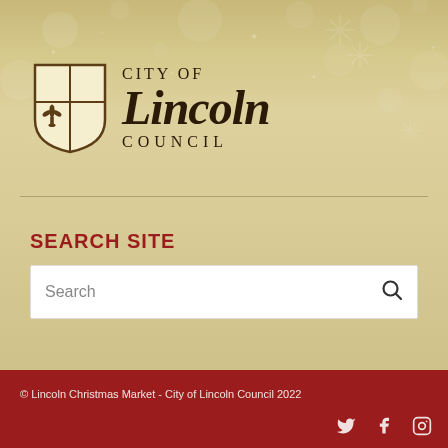[Figure (logo): City of Lincoln Council logo with shield/crest and text 'CITY OF Lincoln COUNCIL' on golden/cream background with snowflake decorations]
SEARCH SITE
Search
© Lincoln Christmas Market - City of Lincoln Council 2022